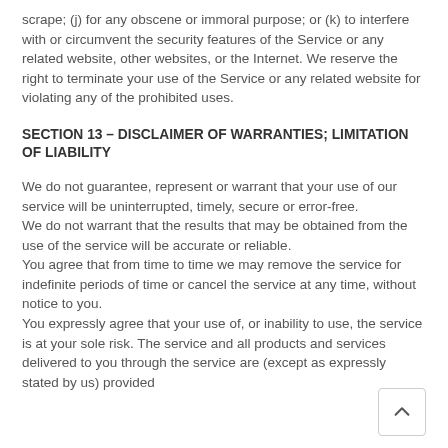scrape; (j) for any obscene or immoral purpose; or (k) to interfere with or circumvent the security features of the Service or any related website, other websites, or the Internet. We reserve the right to terminate your use of the Service or any related website for violating any of the prohibited uses.
SECTION 13 – DISCLAIMER OF WARRANTIES; LIMITATION OF LIABILITY
We do not guarantee, represent or warrant that your use of our service will be uninterrupted, timely, secure or error-free.
We do not warrant that the results that may be obtained from the use of the service will be accurate or reliable.
You agree that from time to time we may remove the service for indefinite periods of time or cancel the service at any time, without notice to you.
You expressly agree that your use of, or inability to use, the service is at your sole risk. The service and all products and services delivered to you through the service are (except as expressly stated by us) provided